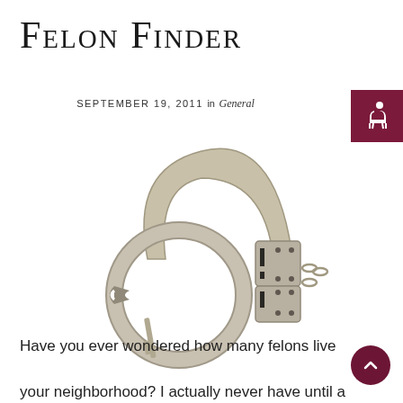Felon Finder
SEPTEMBER 19, 2011 in General
[Figure (photo): A pair of silver metal handcuffs with a key, lying on a white background.]
Have you ever wondered how many felons live your neighborhood? I actually never have until a